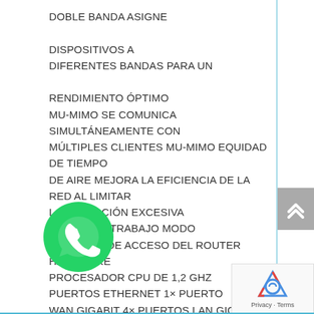DOBLE BANDA ASIGNE

DISPOSITIVOS A
DIFERENTES BANDAS PARA UN

RENDIMIENTO ÓPTIMO
MU-MIMO SE COMUNICA SIMULTÁNEAMENTE CON
MÚLTIPLES CLIENTES MU-MIMO EQUIDAD DE TIEMPO
DE AIRE MEJORA LA EFICIENCIA DE LA RED AL LIMITAR
LA OCUPACIÓN EXCESIVA
MODOS DE TRABAJO MODO
DE PUNTO DE ACCESO DEL ROUTER
HARDWARE
PROCESADOR CPU DE 1,2 GHZ
PUERTOS ETHERNET 1× PUERTO
WAN GIGABIT 4× PUERTOS LAN GIGABIT
BOTONES BOTÓN WPS/RESET
P... 12V = 1A
...AD
...O WIFI ENCRIPTACIONES WPA/WPA2, WPA-PSK/WPA2-PSK/WPA3-SAE
[Figure (logo): WhatsApp green phone icon]
[Figure (other): reCAPTCHA logo with Privacy - Terms text]